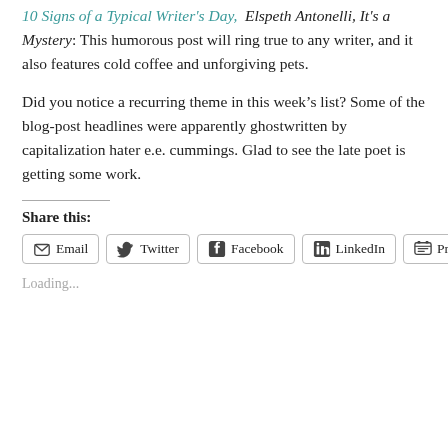10 Signs of a Typical Writer's Day, Elspeth Antonelli, It's a Mystery: This humorous post will ring true to any writer, and it also features cold coffee and unforgiving pets.
Did you notice a recurring theme in this week's list? Some of the blog-post headlines were apparently ghostwritten by capitalization hater e.e. cummings. Glad to see the late poet is getting some work.
Share this:
Loading...